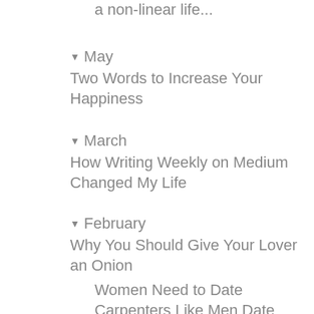a non-linear life...
▼ May
Two Words to Increase Your Happiness
▼ March
How Writing Weekly on Medium Changed My Life
▼ February
Why You Should Give Your Lover an Onion
Women Need to Date Carpenters Like Men Date Yoga Instructors
Why You Can't Find the One: Part 2